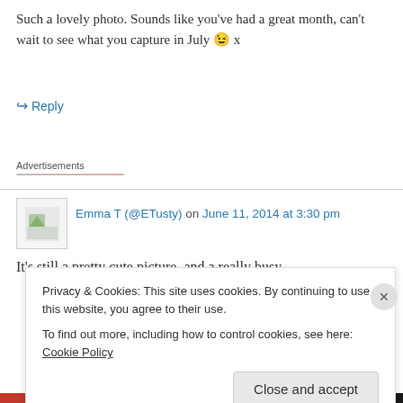Such a lovely photo. Sounds like you've had a great month, can't wait to see what you capture in July 😉 x
↳ Reply
Advertisements
Emma T (@ETusty) on June 11, 2014 at 3:30 pm
It's still a pretty cute picture, and a really busy
Privacy & Cookies: This site uses cookies. By continuing to use this website, you agree to their use.
To find out more, including how to control cookies, see here: Cookie Policy
Close and accept